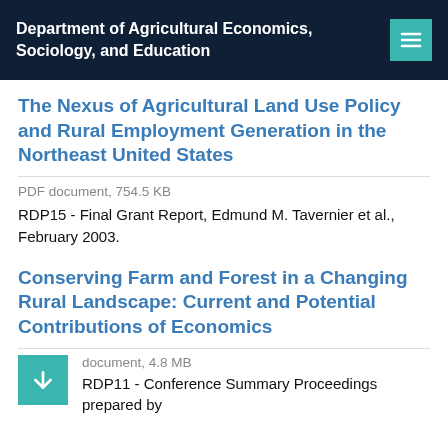Department of Agricultural Economics, Sociology, and Education
The Nexus of Agricultural Land Use Policy and Rural Employment Generation in the Northeast United States
PDF document, 754.5 KB
RDP15 - Final Grant Report, Edmund M. Tavernier et al., February 2003.
Conserving Farm and Forest in a Changing Rural Landscape: Current and Potential Contributions of Economics
document, 4.8 MB
RDP11 - Conference Summary Proceedings prepared by